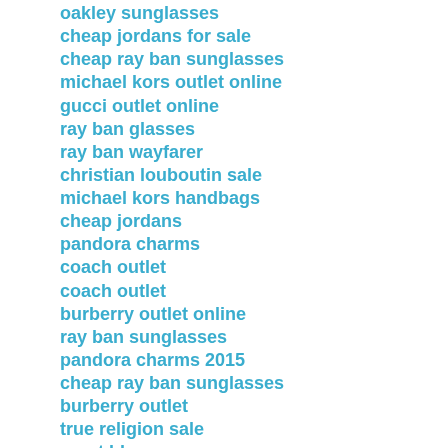oakley sunglasses
cheap jordans for sale
cheap ray ban sunglasses
michael kors outlet online
gucci outlet online
ray ban glasses
ray ban wayfarer
christian louboutin sale
michael kors handbags
cheap jordans
pandora charms
coach outlet
coach outlet
burberry outlet online
ray ban sunglasses
pandora charms 2015
cheap ray ban sunglasses
burberry outlet
true religion sale
mont blanc pen
gucci uk
michael kors
burberry scarf